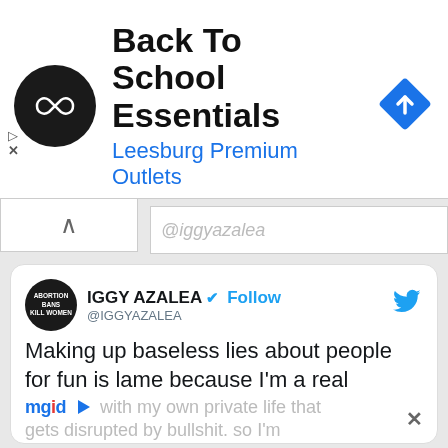[Figure (screenshot): Advertisement banner for Back To School Essentials at Leesburg Premium Outlets, with a circular black logo with two connected diamonds, and a blue diamond navigation icon on the right.]
Back To School Essentials
Leesburg Premium Outlets
[Figure (screenshot): Screenshot of a tweet by IGGY AZALEA (@IGGYAZALEA) with verified badge and Follow button. Tweet text reads: 'Making up baseless lies about people for fun is lame because I'm a real [person] with my own private life that gets disrupted by bullshit. so I'm'. Overlaid by mgid ad widget and a DERMA GLOW sponsored ad: '73-Year-Old Woman With Baby Face. Here's What She Does Before Bed'. A 'Read 72 replies' link appears at the bottom.]
IGGY AZALEA @IGGYAZALEA · Follow
Making up baseless lies about people for fun is lame because I'm a real
with my own private life that gets disrupted by bullshit. so I'm
DERMA GLOW
73-Year-Old Woman With Baby Face. Here's What She Does Before Bed
Read 72 replies